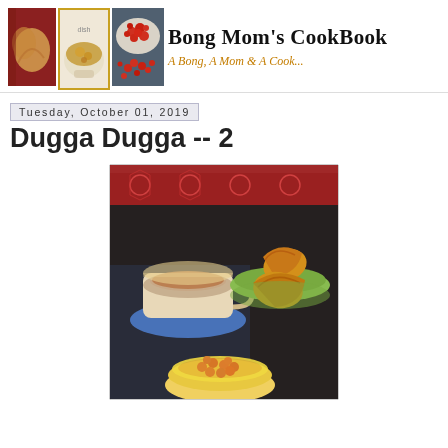[Figure (photo): Blog header with collage of food photos on left (pastry/dumpling, curry dish, red berries/cherries) and blog name 'Bong Mom's CookBook' with subtitle 'A Bong, A Mom & A Cook...' on right]
Tuesday, October 01, 2019
Dugga Dugga -- 2
[Figure (photo): Food photo showing a cup of tea/chai on a blue saucer, fried pastries/samosas on a green plate, and a bowl with chickpeas/chole on a yellow plate, arranged on a dark background with a red patterned cloth]